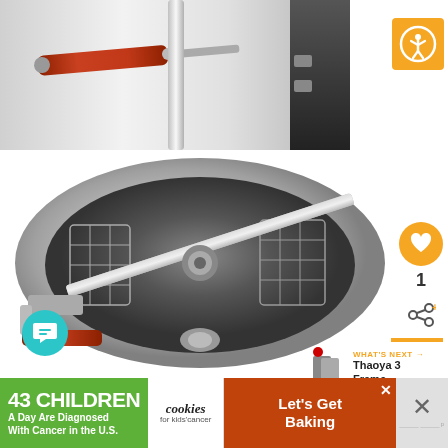[Figure (photo): Close-up of a honey extractor showing a stainless steel body with a red wooden handle crank mechanism on the left side, and a dark right panel with clips/latches visible.]
[Figure (photo): Top-down view of a stainless steel honey extractor showing the interior with wire frame baskets and a crank handle with red wooden grip.]
[Figure (illustration): Accessibility icon - white person with arms raised inside a circle on a yellow/orange square background.]
[Figure (illustration): Heart/favorite icon in orange circle showing count of 1.]
[Figure (illustration): Share icon.]
1
WHAT'S NEXT → Thaoya 3 Frame...
[Figure (illustration): Chat bubble icon in teal/cyan circle.]
43 CHILDREN A Day Are Diagnosed With Cancer in the U.S.
cookies for kids' cancer
Let's Get Baking